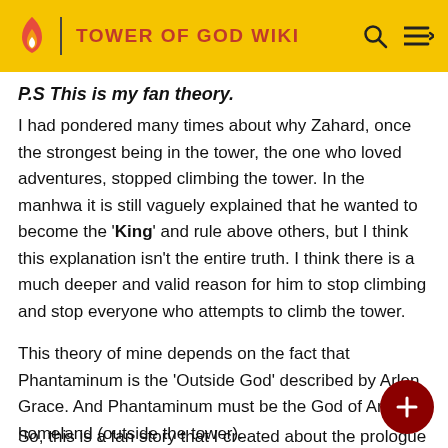TOWER OF GOD WIKI
P.S This is my fan theory.
I had pondered many times about why Zahard, once the strongest being in the tower, the one who loved adventures, stopped climbing the tower. In the manhwa it is still vaguely explained that he wanted to become the 'King' and rule above others, but I think this explanation isn't the entire truth. I think there is a much deeper and valid reason for him to stop climbing and stop everyone who attempts to climb the tower.
This theory of mine depends on the fact that Phantaminum is the 'Outside God' described by Arlen Grace. And Phantaminum must be the God of Arlen's homeland (outside the tower).
So, this is a fan story that I created about the prologue